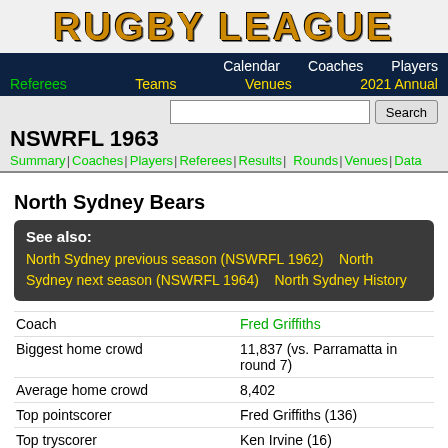RUGBY LEAGUE
Calendar  Coaches  Players  Referees  Teams  Venues  2021 Annual
NSWRFL 1963
Summary | Coaches | Players | Referees | Results | Rounds | Venues | Data
North Sydney Bears
See also:
  North Sydney previous season (NSWRFL 1962)   North Sydney next season (NSWRFL 1964)   North Sydney History
|  |  |
| --- | --- |
| Coach | Fred Griffiths |
| Biggest home crowd | 11,837 (vs. Parramatta in round 7) |
| Average home crowd | 8,402 |
| Top pointscorer | Fred Griffiths (136) |
| Top tryscorer | Ken Irvine (16) |